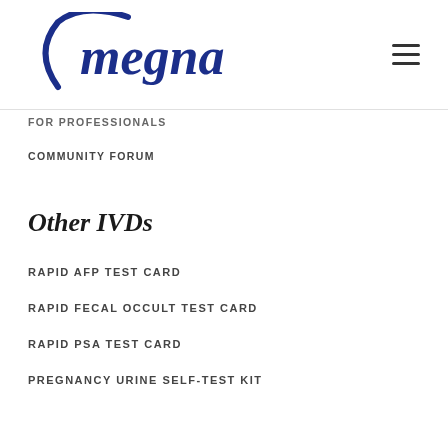megna
FOR PROFESSIONALS
COMMUNITY FORUM
Other IVDs
RAPID AFP TEST CARD
RAPID FECAL OCCULT TEST CARD
RAPID PSA TEST CARD
PREGNANCY URINE SELF-TEST KIT